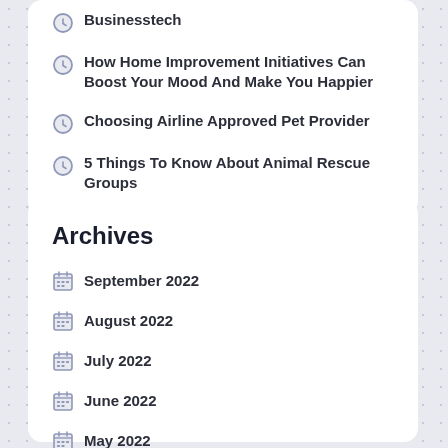Businesstech
How Home Improvement Initiatives Can Boost Your Mood And Make You Happier
Choosing Airline Approved Pet Provider
5 Things To Know About Animal Rescue Groups
Archives
September 2022
August 2022
July 2022
June 2022
May 2022